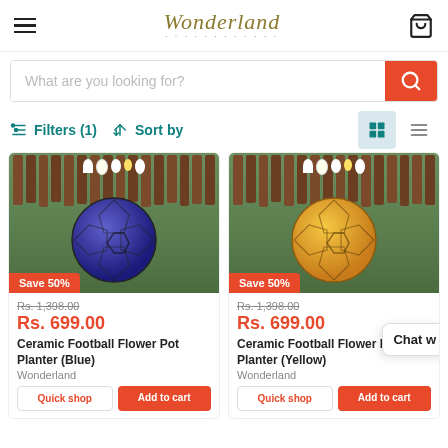Wonderland
What are you looking for?
Filters (1)   Sort by
[Figure (photo): Blue ceramic football flower pot planter with white and yellow flowers, Save 50% badge]
Rs. 1,398.00
Rs. 699.00
Ceramic Football Flower Pot Planter (Blue)
Wonderland
Quick shop   Add to cart
[Figure (photo): Yellow ceramic football flower pot planter with white and yellow flowers, Save 50% badge]
Rs. 1,398.00
Rs. 699.00
Ceramic Football Flower Pot Planter (Yellow)
Wonderland
Quick shop   Add to cart